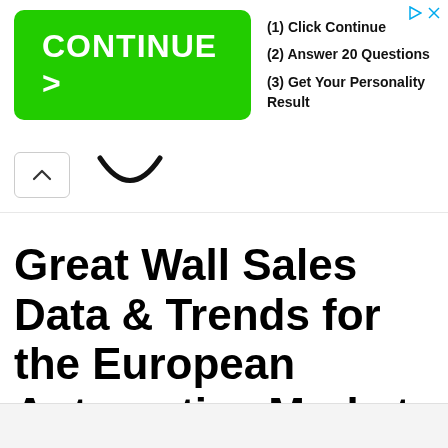[Figure (screenshot): Advertisement banner: green 'CONTINUE >' button on the left, three steps on the right: (1) Click Continue, (2) Answer 20 Questions, (3) Get Your Personality Result. Play and close icons in top-right corner.]
[Figure (screenshot): Partial UI element showing a chevron-up icon in a rounded rectangle box and a partial smiley/logo icon to its right.]
Great Wall Sales Data & Trends for the European Automotive Market